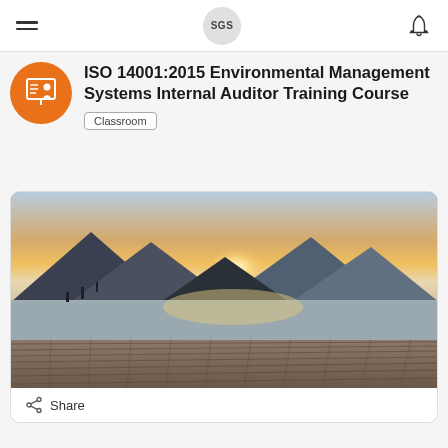SGS
ISO 14001:2015 Environmental Management Systems Internal Auditor Training Course
Classroom
[Figure (photo): Scenic landscape photo of a mountain lake at sunrise/sunset with a wooden dock in the foreground, taken from a training course listing page]
Share